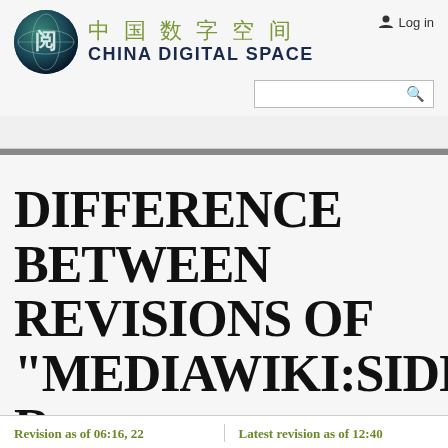[Figure (logo): China Digital Space logo: circular globe icon with Chinese characters, site name in Chinese (中国数字空间) and English (CHINA DIGITAL SPACE)]
Log in
DIFFERENCE BETWEEN REVISIONS OF "MEDIAWIKI:SIDEBAR
Revision as of 06:16, 22
Latest revision as of 12:40